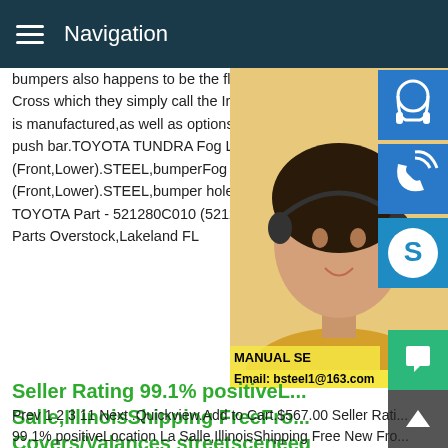Navigation
bumpers also happens to be the flagship... Cross which they simply call the Iron Cros... is manufactured,as well as options that inc... push bar.TOYOTA TUNDRA Fog Light Tri... (Front,Lower).STEEL,bumperFog Light Tri... (Front,Lower).STEEL,bumper hole.TOYO... TOYOTA Part - 521280C010 (52128-0C01... Parts Overstock,Lakeland FL
[Figure (photo): Woman with headset customer service photo with blue icon buttons on right side (headset, phone, Skype) and overlay text: MANUAL SE, QUOTING O, Email: bsteel1@163.com]
Seller Rating 99.1% positiveL... Salle,IllinoisShipping FreeFro... Covers/Valances streetsceneeq
Front Bumper Covers/Valances; Front Bumper Covers/Valances
Prev 1 2 3 11 Next .Quickview.Add to Cart.$567.00 Seller Rati... 99.1% positiveLocation La Salle,IllinoisShipping Free New Fro... Bumper Chrome Steel W/Fog Light New Front Bumper Chrom... Steel W/Fog Light Holes + Lower Valance Cover Primed Plast...